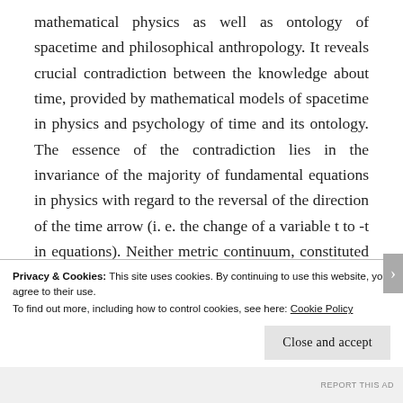mathematical physics as well as ontology of spacetime and philosophical anthropology. It reveals crucial contradiction between the knowledge about time, provided by mathematical models of spacetime in physics and psychology of time and its ontology. The essence of the contradiction lies in the invariance of the majority of fundamental equations in physics with regard to the reversal of the direction of the time arrow (i. e. the change of a variable t to -t in equations). Neither metric continuum, constituted by the spaces of concurrency in the spacetime of the classical mechanics before the
Privacy & Cookies: This site uses cookies. By continuing to use this website, you agree to their use.
To find out more, including how to control cookies, see here: Cookie Policy
Close and accept